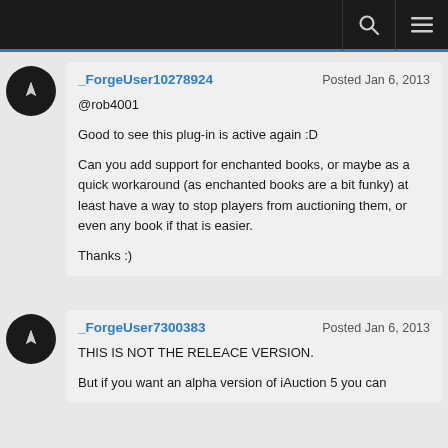_ForgeUser10278924 | Posted Jan 6, 2013
@rob4001

Good to see this plug-in is active again :D

Can you add support for enchanted books, or maybe as a quick workaround (as enchanted books are a bit funky) at least have a way to stop players from auctioning them, or even any book if that is easier.

Thanks :)
_ForgeUser7300383 | Posted Jan 6, 2013
THIS IS NOT THE RELEACE VERSION.

But if you want an alpha version of iAuction 5 you can